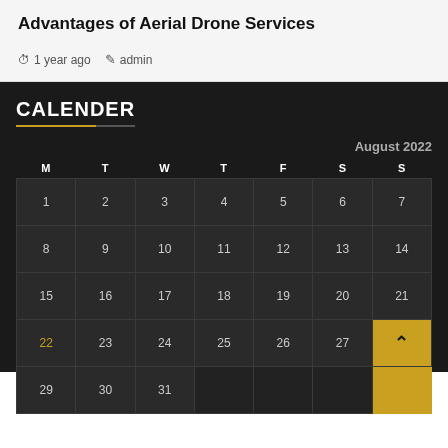Advantages of Aerial Drone Services
1 year ago  admin
CALENDER
| M | T | W | T | F | S | S |
| --- | --- | --- | --- | --- | --- | --- |
| 1 | 2 | 3 | 4 | 5 | 6 | 7 |
| 8 | 9 | 10 | 11 | 12 | 13 | 14 |
| 15 | 16 | 17 | 18 | 19 | 20 | 21 |
| 22 | 23 | 24 | 25 | 26 | 27 | 28 |
| 29 | 30 | 31 |  |  |  |  |